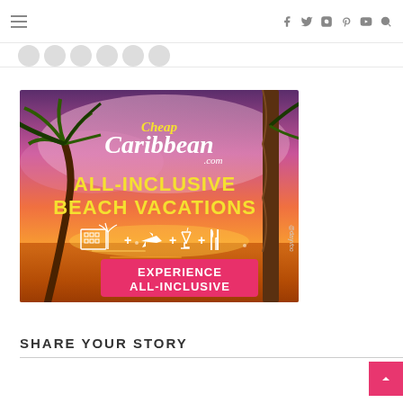Navigation bar with hamburger menu and social icons: f (Facebook), Twitter, Instagram, Pinterest, YouTube, Search
[Figure (illustration): CheapCaribbean.com advertisement banner showing a tropical beach sunset with palm trees. Text reads: 'Cheap Caribbean .com ALL-INCLUSIVE BEACH VACATIONS' with icons of hotel + airplane + cocktail + fork-and-knife, and a pink button 'EXPERIENCE ALL-INCLUSIVE'. Vertical text '@dayvbo' on the right side.]
SHARE YOUR STORY